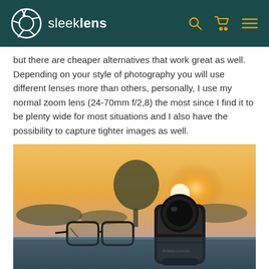sleeklens
but there are cheaper alternatives that work great as well. Depending on your style of photography you will use different lenses more than others, personally, I use my normal zoom lens (24-70mm f/2,8) the most since I find it to be plenty wide for most situations and I also have the possibility to capture tighter images as well.
[Figure (photo): A camera lens and glasses sitting on a ledge at sunset with a blurred tree and sun in the background]